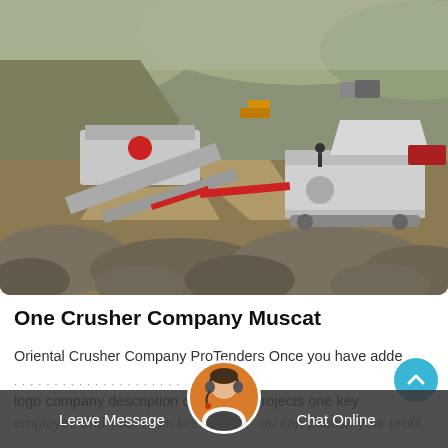[Figure (photo): Aerial view of mobile crushing machinery and equipment at an open-pit quarry/mining site with rock piles, earthen terrain, and vehicles in the background.]
One Crusher Company Muscat
Oriental Crusher Company ProTenders Once you have added your logo company description one or two projects one key employee and your team breakdown you can publish your profil...
Leave Message   Chat Online